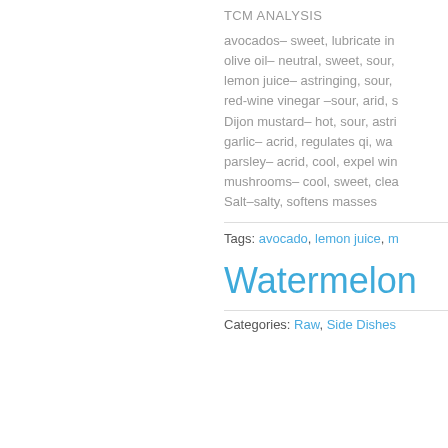TCM ANALYSIS
avocados– sweet, lubricate in…
olive oil– neutral, sweet, sour,…
lemon juice– astringing, sour,…
red-wine vinegar –sour, arid, s…
Dijon mustard– hot, sour, astri…
garlic– acrid, regulates qi, wa…
parsley– acrid, cool, expel win…
mushrooms– cool, sweet, cle…
Salt–salty, softens masses
Tags: avocado, lemon juice, m…
Watermelon
Categories: Raw, Side Dishes